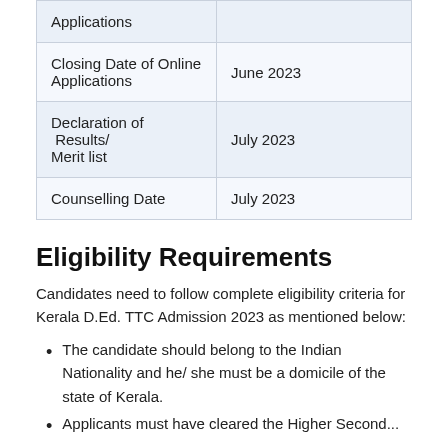|  |  |
| --- | --- |
| Applications |  |
| Closing Date of Online Applications | June 2023 |
| Declaration of  Results/ Merit list | July 2023 |
| Counselling Date | July 2023 |
Eligibility Requirements
Candidates need to follow complete eligibility criteria for Kerala D.Ed. TTC Admission 2023 as mentioned below:
The candidate should belong to the Indian Nationality and he/ she must be a domicile of the state of Kerala.
Applicants must have cleared the Higher Secondary...